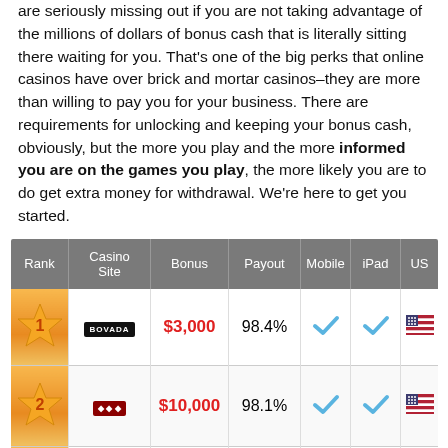are seriously missing out if you are not taking advantage of the millions of dollars of bonus cash that is literally sitting there waiting for you. That's one of the big perks that online casinos have over brick and mortar casinos–they are more than willing to pay you for your business. There are requirements for unlocking and keeping your bonus cash, obviously, but the more you play and the more informed you are on the games you play, the more likely you are to do get extra money for withdrawal. We're here to get you started.
| Rank | Casino Site | Bonus | Payout | Mobile | iPad | US |
| --- | --- | --- | --- | --- | --- | --- |
| 1 | BOVADA | $3,000 | 98.4% | ✓ | ✓ | 🇺🇸 |
| 2 | [casino 2] | $10,000 | 98.1% | ✓ | ✓ | 🇺🇸 |
| 3 | [casino 3] | $1500 | 97.2% | ✗ | ✗ | ✗ |
| 4 | [casino 4] | ... | ... | ✓ |  |  |